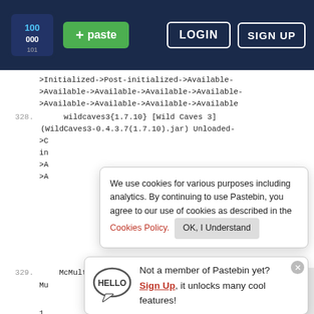Pastebin header with logo, + paste button, LOGIN and SIGN UP buttons
>Initialized->Post-initialized->Available->Available->Available->Available->Available->Available->Available->Available->Available->Available->Available
328.     wildcaves3{1.7.10} [Wild Caves 3] (WildCaves3-0.4.3.7(1.7.10).jar) Unloaded->C
in
>A
>A
We use cookies for various purposes including analytics. By continuing to use Pastebin, you agree to our use of cookies as described in the Cookies Policy.  OK, I Understand
329.  McMultipart[1.2.0.244] [Minecraft
Mu
1.
Not a member of Pastebin yet? Sign Up, it unlocks many cool features!
>Pre-initialized->Initialized->Post-initialized->Available->Available->Available->Available->Available->Available->Available->Available->Available->Available->Available
330.     aobd{2.6.3} [Another One Bites The Dust]